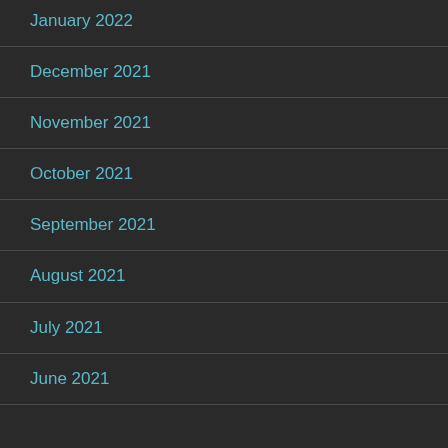January 2022
December 2021
November 2021
October 2021
September 2021
August 2021
July 2021
June 2021